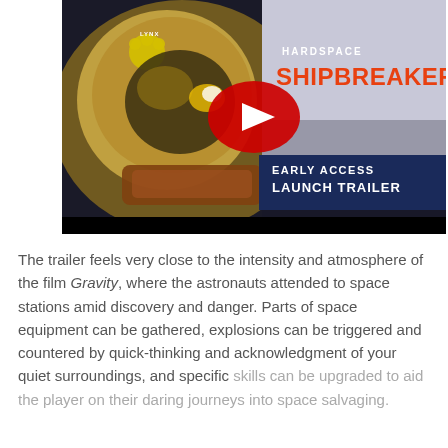[Figure (screenshot): YouTube video thumbnail for Hardspace: Shipbreaker Early Access Launch Trailer. Shows an astronaut in a gold helmet on the left, with the game title 'HARDSPACE SHIPBREAKER' on the right in white/orange text, and 'EARLY ACCESS LAUNCH TRAILER' in a dark blue banner. A red YouTube play button is overlaid in the center.]
The trailer feels very close to the intensity and atmosphere of the film Gravity, where the astronauts attended to space stations amid discovery and danger. Parts of space equipment can be gathered, explosions can be triggered and countered by quick-thinking and acknowledgment of your quiet surroundings, and specific skills can be upgraded to aid the player on their daring journeys into space salvaging.